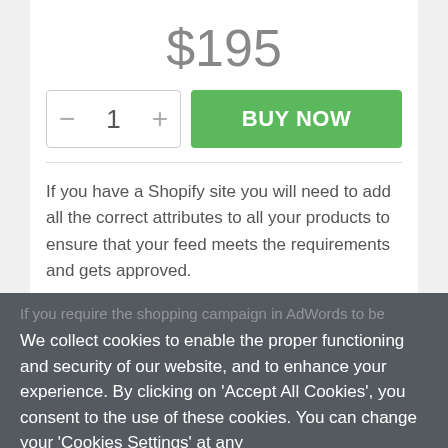$195
[Figure (screenshot): Quantity selector with minus button, number 1, and plus button, alongside a green BUY NOW button]
If you have a Shopify site you will need to add all the correct attributes to all your products to ensure that your feed meets the requirements and gets approved.
I will set up the link to the Merchant account, making sure it picks up all the correct information and maps all the products to the correct categories where possible. I will then check it for errors and also set up regular automated feed updates as required.
If you require the shopping campaign in AdWords to be
We collect cookies to enable the proper functioning and security of our website, and to enhance your experience. By clicking on 'Accept All Cookies', you consent to the use of these cookies. You can change your 'Cookies Settings' at any